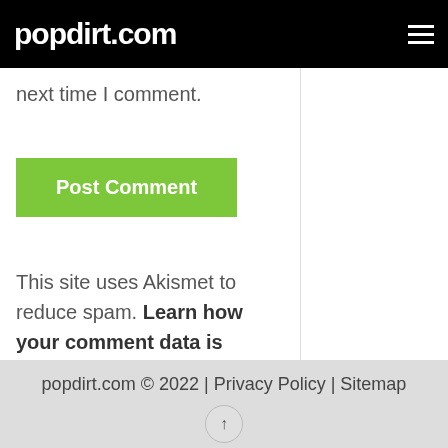popdirt.com
next time I comment.
Post Comment
This site uses Akismet to reduce spam. Learn how your comment data is processed.
popdirt.com © 2022 | Privacy Policy | Sitemap